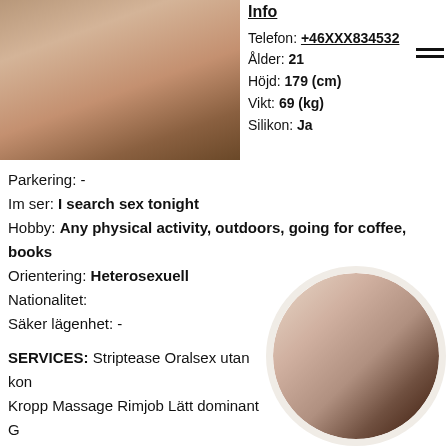[Figure (photo): Photo of a person standing in a kitchen]
Info
Telefon: +46XXX834532
Ålder: 21
Höjd: 179 (cm)
Vikt: 69 (kg)
Silikon: Ja
Parkering: -
Im ser: I search sex tonight
Hobby: Any physical activity, outdoors, going for coffee, books
Orientering: Heterosexuell
Nationalitet:
Säker lägenhet: -
SERVICES: Striptease Oralsex utan kon Kropp Massage Rimjob Lätt dominant G duschning Hard dominant Uniforms Stra Oralsex med kondom Bondage (BDSM) Br Prostatemassage Anal stretching Deepthroat (djupt i
[Figure (photo): Circular portrait photo of a dark-haired person]